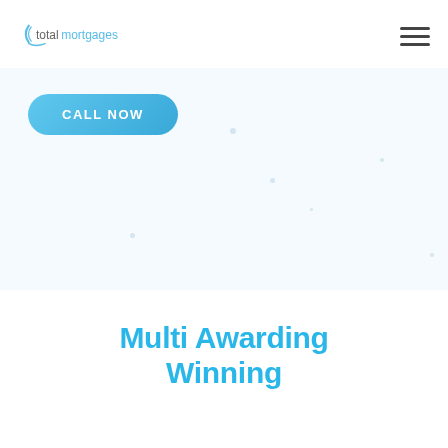totalmortgages
[Figure (screenshot): CALL NOW button — rounded blue button with white text]
Multi Awarding Winning
[Figure (logo): Circular gold award badge, partially visible at bottom of page, with text 'ZEALAND']